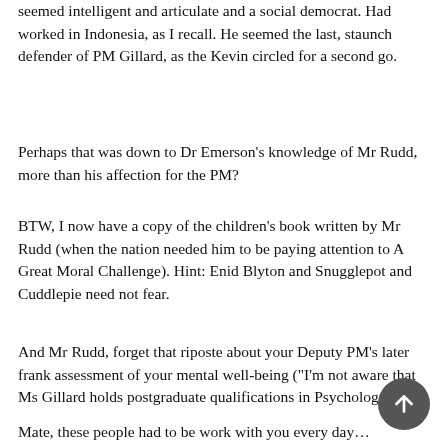seemed intelligent and articulate and a social democrat. Had worked in Indonesia, as I recall. He seemed the last, staunch defender of PM Gillard, as the Kevin circled for a second go.
Perhaps that was down to Dr Emerson’s knowledge of Mr Rudd, more than his affection for the PM?
BTW, I now have a copy of the children’s book written by Mr Rudd (when the nation needed him to be paying attention to A Great Moral Challenge). Hint: Enid Blyton and Snugglepot and Cuddlepie need not fear.
And Mr Rudd, forget that riposte about your Deputy PM’s later frank assessment of your mental well-being (“I’m not aware that Ms Gillard holds postgraduate qualifications in Psychology!”)
Mate, these people had to be work with you every day…